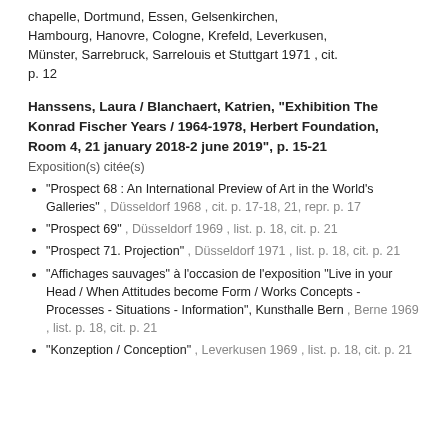chapelle, Dortmund, Essen, Gelsenkirchen, Hambourg, Hanovre, Cologne, Krefeld, Leverkusen, Münster, Sarrebruck, Sarrelouis et Stuttgart 1971 , cit. p. 12
Hanssens, Laura / Blanchaert, Katrien, "Exhibition The Konrad Fischer Years / 1964-1978, Herbert Foundation, Room 4, 21 january 2018-2 june 2019", p. 15-21
Exposition(s) citée(s)
"Prospect 68 : An International Preview of Art in the World's Galleries" , Düsseldorf 1968 , cit. p. 17-18, 21, repr. p. 17
"Prospect 69" , Düsseldorf 1969 , list. p. 18, cit. p. 21
"Prospect 71. Projection" , Düsseldorf 1971 , list. p. 18, cit. p. 21
"Affichages sauvages" à l'occasion de l'exposition "Live in your Head / When Attitudes become Form / Works Concepts - Processes - Situations - Information", Kunsthalle Bern , Berne 1969 , list. p. 18, cit. p. 21
"Konzeption / Conception" , Leverkusen 1969 , list. p. 18, cit. p. 21